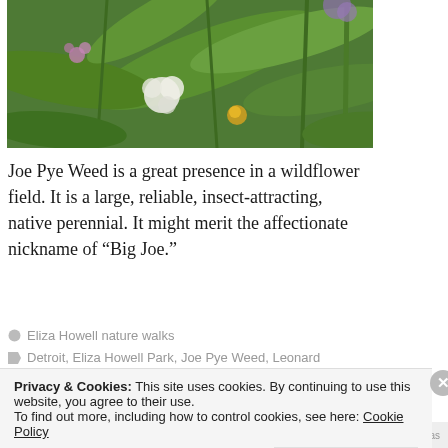[Figure (photo): Close-up photo of Joe Pye Weed plant with green leaves, white flower clusters, and wildflowers in a field setting]
Joe Pye Weed is a great presence in a wildflower field. It is a large, reliable, insect-attracting, native perennial. It might merit the affectionate nickname of “Big Joe.”
Eliza Howell nature walks
Detroit, Eliza Howell Park, Joe Pye Weed, Leonard
Privacy & Cookies: This site uses cookies. By continuing to use this website, you agree to their use.
To find out more, including how to control cookies, see here: Cookie Policy
Close and accept